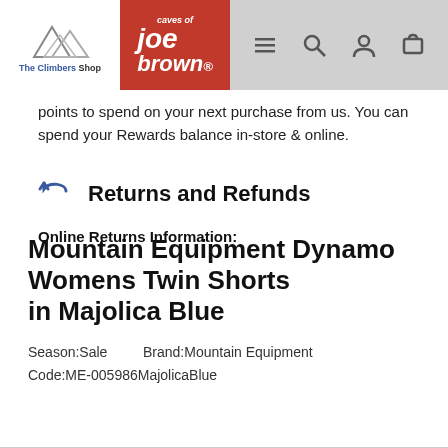The Climbers Shop / Joe Brown — navigation header
points to spend on your next purchase from us. You can spend your Rewards balance in-store & online.
Returns and Refunds
Online Returns Information:
Mountain Equipment Dynamo Womens Twin Shorts in Majolica Blue
Season:Sale    Brand:Mountain Equipment
Code:ME-005986MajolicaBlue